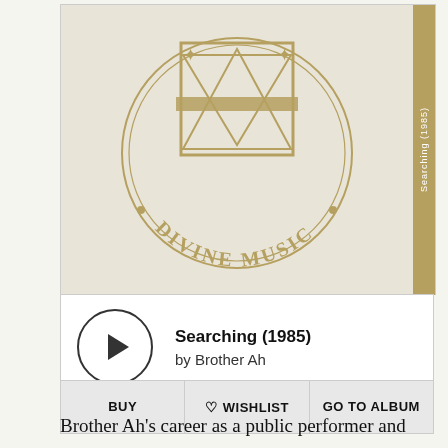[Figure (logo): Divine Music logo — circular emblem with geometric star/diamond shapes and text 'DIVINE MUSIC' along the bottom arc, in gold/tan on a cream background. Album cover for 'Searching (1985)' by Brother Ah.]
Searching (1985)
by Brother Ah
BUY   ♡ WISHLIST   GO TO ALBUM
Brother Ah's career as a public performer and